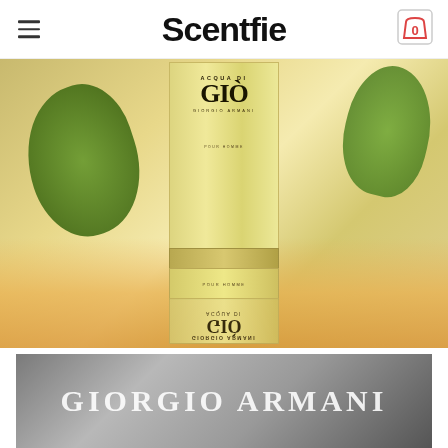Scentfie
[Figure (photo): Acqua di Giò Giorgio Armani Pour Homme fragrance bottle against a blurred tropical background with green leaves and warm golden tones, showing both upright and reflected/inverted bottle]
[Figure (photo): Black and white photo with Giorgio Armani text overlay in large white serif letters]